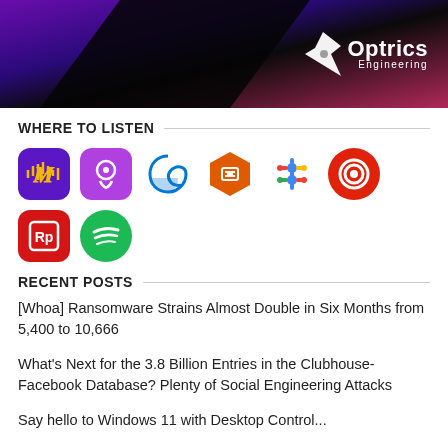[Figure (logo): Optrics Engineering banner with logo on dark purple/pink gradient background with diagonal black stripe]
WHERE TO LISTEN
[Figure (infographic): Row of podcast app icons: Castbox/anchor, Apple Podcasts, Microsoft Edge Podcast, Castbox, Google Podcasts, Pocket Casts; second row: RadioPublic, Spotify]
RECENT POSTS
[Whoa] Ransomware Strains Almost Double in Six Months from 5,400 to 10,666
What's Next for the 3.8 Billion Entries in the Clubhouse-Facebook Database? Plenty of Social Engineering Attacks
Say hello to Windows 11 with Desktop Control...